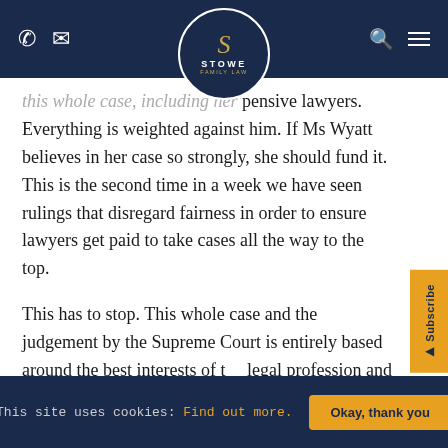Stowe Family Law — navigation bar with phone, email, logo, search, and menu icons
this whole case, including her expensive lawyers. Everything is weighted against him. If Ms Wyatt believes in her case so strongly, she should fund it. This is the second time in a week we have seen rulings that disregard fairness in order to ensure lawyers get paid to take cases all the way to the top.

This has to stop. This whole case and the judgement by the Supreme Court is entirely based around the best interests of the legal profession and not the best interests of fairness to the parties. It is very clear that Mr Vince should never have been
This site uses cookies: Find out more.   Okay, thank you